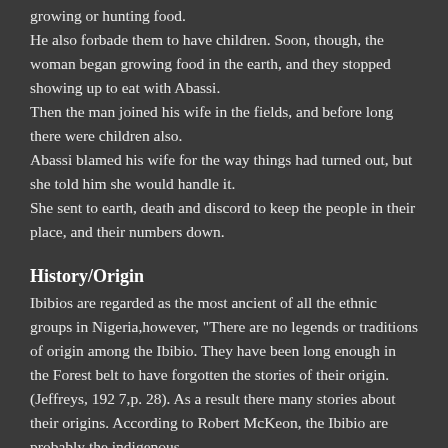growing or hunting food.
He also forbade them to have children. Soon, though, the woman began growing food in the earth, and they stopped showing up to eat with Abassi.
Then the man joined his wife in the fields, and before long there were children also.
Abassi blamed his wife for the way things had turned out, but she told him she would handle it.
She sent to earth, death and discord to keep the people in their place, and their numbers down.
History/Origin
Ibibios are regarded as the most ancient of all the ethnic groups in Nigeria,however, "There are no legends or traditions of origin among the Ibibio. They have been long enough in the Forest belt to have forgotten the stories of their origin. (Jeffreys, 192 7,p. 28). As a result there many stories about their origins. According to Robert McKeon, the Ibibio are probably the indigenous